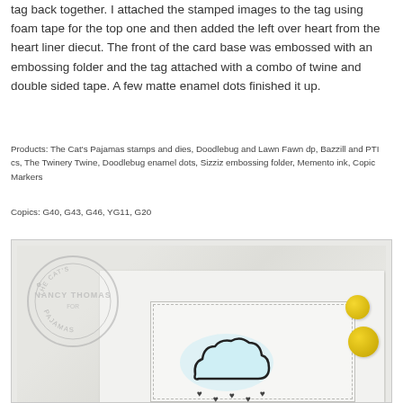tag back together. I attached the stamped images to the tag using foam tape for the top one and then added the left over heart from the heart liner diecut. The front of the card base was embossed with an embossing folder and the tag attached with a combo of twine and double sided tape. A few matte enamel dots finished it up.
Products: The Cat's Pajamas stamps and dies, Doodlebug and Lawn Fawn dp, Bazzill and PTI cs, The Twinery Twine, Doodlebug enamel dots, Sizziz embossing folder, Memento ink, Copic Markers
Copics: G40, G43, G46, YG11, G20
[Figure (photo): A handmade card with textured white card base, a circular stamp watermark reading 'Nancy Thomas for Pajamas', a white tag/panel with stitched border containing a light blue cloud with heart raindrops, and yellow enamel dots on the right side.]